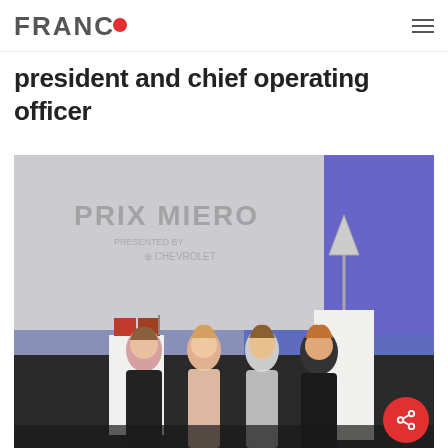FRANCO [logo with red dot]
president and chief operating officer
[Figure (photo): Four women standing together on a stage at an event called 'PRIX MIERO presented by Chevrolet'. Awards and trophies visible on pedestals in the background with blue and purple stage lighting. The women are dressed in cocktail attire. A red circular share button is overlaid in the bottom-right corner.]